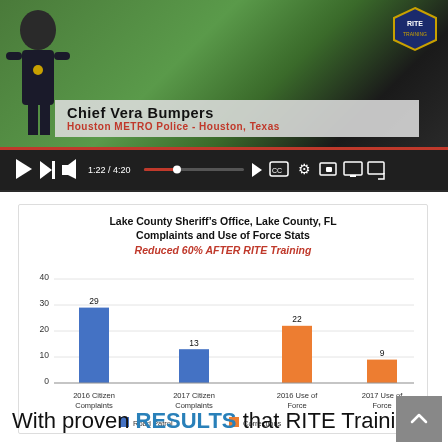[Figure (screenshot): Video screenshot showing Chief Vera Bumpers, Houston METRO Police - Houston, Texas, with video player controls showing 1:22 / 4:20]
[Figure (bar-chart): Lake County Sheriff's Office, Lake County, FL Complaints and Use of Force Stats — Reduced 60% AFTER RITE Training]
With proven RESULTS that RITE Training